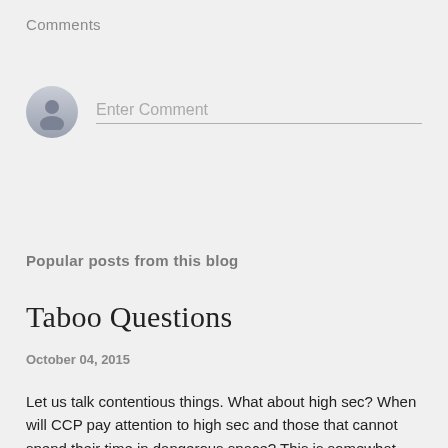Comments
[Figure (illustration): User avatar placeholder — circular grey silhouette icon next to a comment input field with placeholder text 'Enter Comment' and a bottom border line]
Popular posts from this blog
Taboo Questions
October 04, 2015
Let us talk contentious things. What about high sec? When will CCP pay attention to high sec and those that cannot spend their time in dangerous space? This is somewhat how the day...